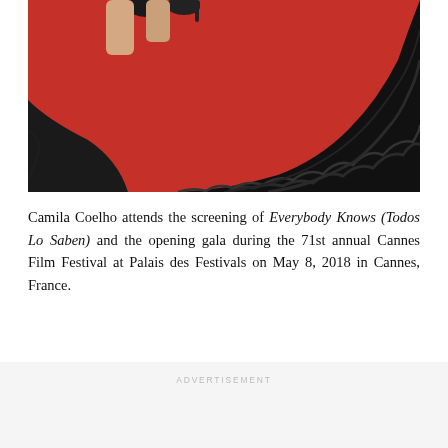[Figure (photo): A person in a large black fur gown/garment on a red carpet, with black high heels visible at the top. The bottom of the dress fans out dramatically. Red carpet background visible.]
Camila Coelho attends the screening of Everybody Knows (Todos Lo Saben) and the opening gala during the 71st annual Cannes Film Festival at Palais des Festivals on May 8, 2018 in Cannes, France.
ADVERTISEMENT